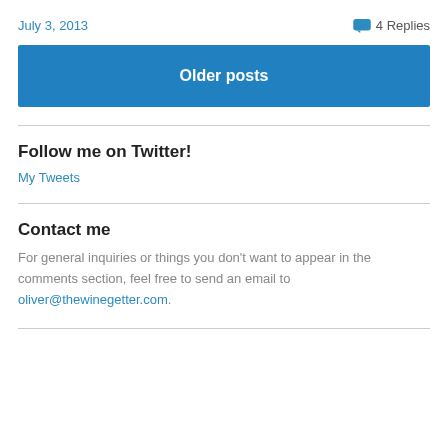July 3, 2013
4 Replies
Older posts
Follow me on Twitter!
My Tweets
Contact me
For general inquiries or things you don't want to appear in the comments section, feel free to send an email to oliver@thewinegetter.com.